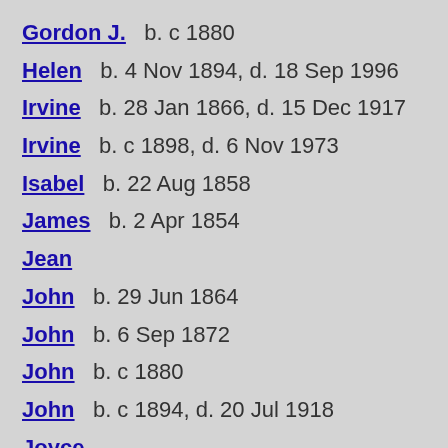Gordon J.  b. c 1880
Helen  b. 4 Nov 1894, d. 18 Sep 1996
Irvine  b. 28 Jan 1866, d. 15 Dec 1917
Irvine  b. c 1898, d. 6 Nov 1973
Isabel  b. 22 Aug 1858
James  b. 2 Apr 1854
Jean
John  b. 29 Jun 1864
John  b. 6 Sep 1872
John  b. c 1880
John  b. c 1894, d. 20 Jul 1918
Joyce
Louisa  b. c 1892